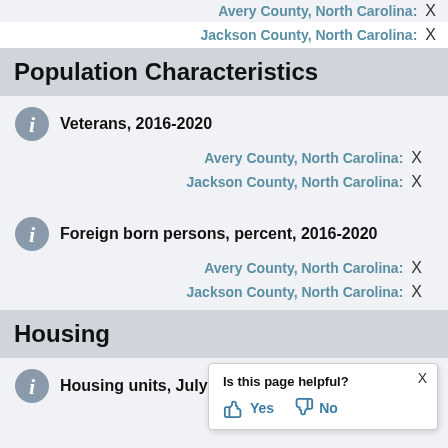Avery County, North Carolina: X
Jackson County, North Carolina: X
Population Characteristics
Veterans, 2016-2020
Avery County, North Carolina: X
Jackson County, North Carolina: X
Foreign born persons, percent, 2016-2020
Avery County, North Carolina: X
Jackson County, North Carolina: X
Housing
Housing units, July 1, 2021, (V2021)
Avery County, North Carolina: X
Is this page helpful? Yes No